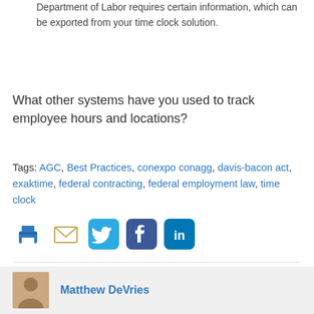Department of Labor requires certain information, which can be exported from your time clock solution.
What other systems have you used to track employee hours and locations?
Tags: AGC, Best Practices, conexpo conagg, davis-bacon act, exaktime, federal contracting, federal employment law, time clock
[Figure (infographic): Social sharing icons: print (blue printer icon), email (tan envelope icon), Twitter (blue bird icon), Facebook (dark blue f icon), LinkedIn (teal in icon)]
Matthew DeVries